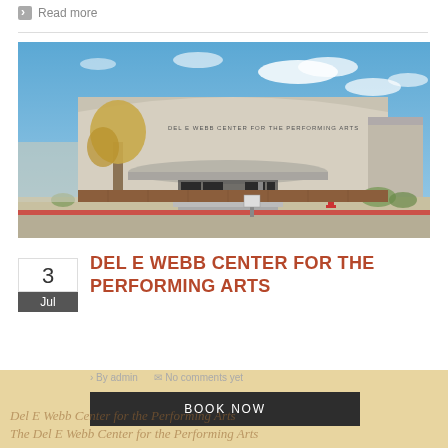Read more
[Figure (photo): Exterior photo of Del E Webb Center for the Performing Arts — a large modern beige building with curved roofline, glass entrance, brown brick base, a tree in the foreground, blue sky with clouds.]
3
Jul
DEL E WEBB CENTER FOR THE PERFORMING ARTS
By admin   No comments yet
BOOK NOW
Del E Webb Center for the Performing Arts
The Del E Webb Center for the Performing Arts